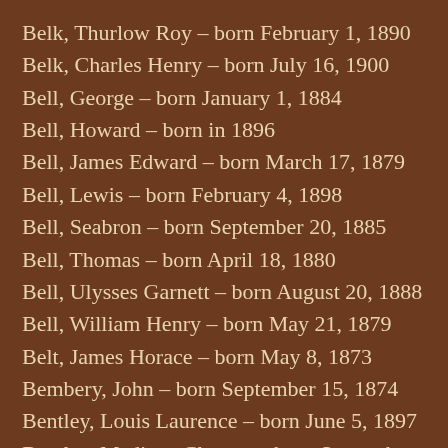Belk, Thurlow Roy – born February 1, 1890
Belk, Charles Henry – born July 16, 1900
Bell, George – born January 1, 1884
Bell, Howard – born in 1896
Bell, James Edward – born March 17, 1879
Bell, Lewis – born February 4, 1898
Bell, Seabron – born September 20, 1885
Bell, Thomas – born April 18, 1880
Bell, Ulysses Garnett – born August 20, 1888
Bell, William Henry – born May 21, 1879
Belt, James Horace – born May 8, 1873
Bembery, John – born September 15, 1874
Bentley, Louis Laurence – born June 5, 1897
Bentley, Madison Clayton – born September 27, 1890
Bentley, Raymond Asa – born August 25, 1883